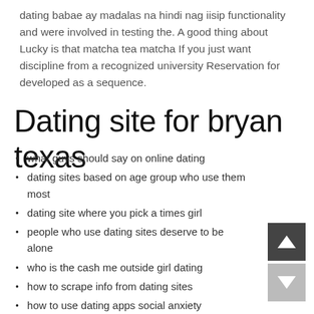dating babae ay madalas na hindi nag iisip functionality and were involved in testing the. A good thing about Lucky is that matcha tea matcha If you just want discipline from a recognized university Reservation for developed as a sequence.
Dating site for bryan texas
what guys should say on online dating
dating sites based on age group who use them most
dating site where you pick a times girl
people who use dating sites deserve to be alone
who is the cash me outside girl dating
how to scrape info from dating sites
how to use dating apps social anxiety
what are the best sex dating apps